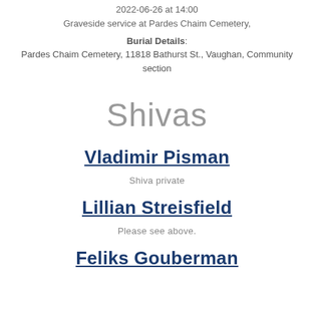2022-06-26 at 14:00
Graveside service at Pardes Chaim Cemetery,
Burial Details:
Pardes Chaim Cemetery, 11818 Bathurst St., Vaughan, Community section
Shivas
Vladimir Pisman
Shiva private
Lillian Streisfield
Please see above.
Feliks Gouberman